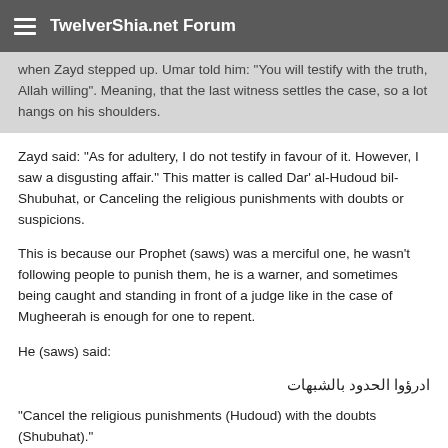TwelverShia.net Forum
when Zayd stepped up. Umar told him: "You will testify with the truth, Allah willing". Meaning, that the last witness settles the case, so a lot hangs on his shoulders.
Zayd said: "As for adultery, I do not testify in favour of it. However, I saw a disgusting affair." This matter is called Dar' al-Hudoud bil-Shubuhat, or Canceling the religious punishments with doubts or suspicions.
This is because our Prophet (saws) was a merciful one, he wasn't following people to punish them, he is a warner, and sometimes being caught and standing in front of a judge like in the case of Mugheerah is enough for one to repent.
He (saws) said:
ادرؤوا الحدود بالشبهات
"Cancel the religious punishments (Hudoud) with the doubts (Shubuhat)."